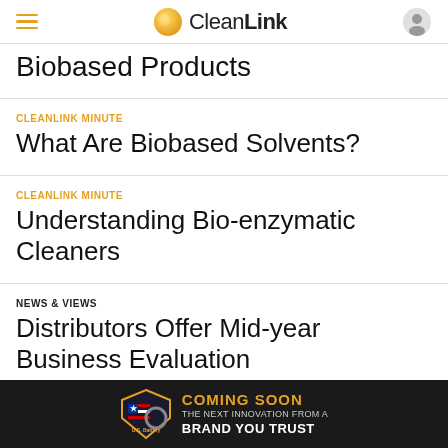CleanLink
Biobased Products
CLEANLINK MINUTE
What Are Biobased Solvents?
CLEANLINK MINUTE
Understanding Bio-enzymatic Cleaners
NEWS & VIEWS
Distributors Offer Mid-year Business Evaluation
[Figure (screenshot): U.S. Battery advertisement banner: COMING SOON - THE NEXT INNOVATION FROM A BRAND YOU TRUST]